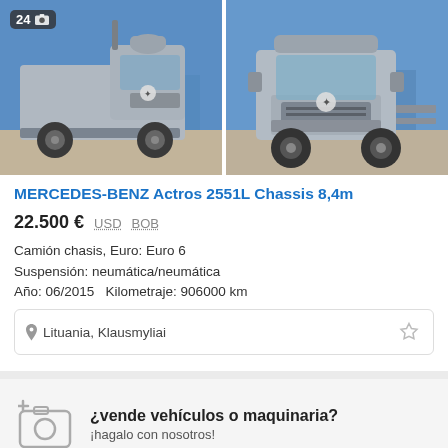[Figure (photo): Photo gallery of a Mercedes-Benz Actros 2551L Chassis truck, showing left side view and front-right view on a sunny day in a parking/yard area. Badge showing '24' with camera icon in top-left corner.]
MERCEDES-BENZ Actros 2551L Chassis 8,4m
22.500 € USD BOB
Camión chasis, Euro: Euro 6
Suspensión: neumática/neumática
Año: 06/2015   Kilometraje: 906000 km
Lituania, Klausmyliai
¿vende vehículos o maquinaria?
¡hagalo con nosotros!